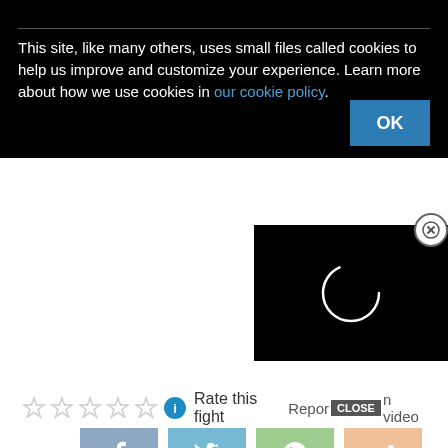This site, like many others, uses small files called cookies to help us improve and customize your experience. Learn more about how we use cookies in our cookie policy.
[Figure (screenshot): OK button (blue) in cookie consent banner]
[Figure (screenshot): Video player with loading spinner (white circle) on black background, with close (X) button]
Rate this fight
Report broken video
[Figure (screenshot): Social share buttons: Facebook, Twitter, WhatsApp, Share]